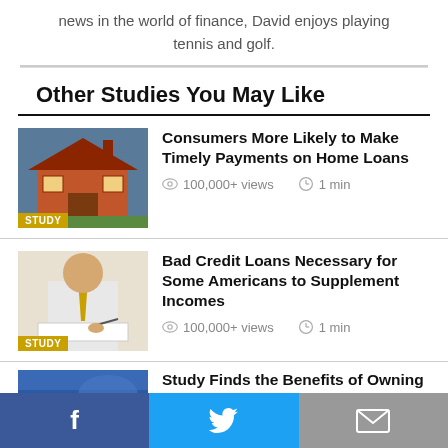news in the world of finance, David enjoys playing tennis and golf.
Other Studies You May Like
[Figure (photo): Thumbnail image of a house with STUDY badge]
Consumers More Likely to Make Timely Payments on Home Loans
100,000+ views   1 min
[Figure (photo): Thumbnail image of a man signing documents with STUDY badge]
Bad Credit Loans Necessary for Some Americans to Supplement Incomes
100,000+ views   1 min
[Figure (photo): Partial thumbnail image of a study article]
Study Finds the Benefits of Owning